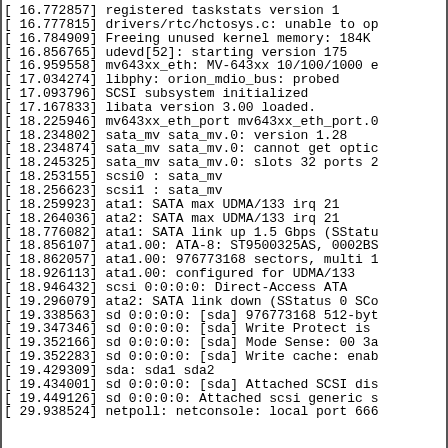[   16.772857] registered taskstats version 1
[   16.777815] drivers/rtc/hctosys.c: unable to op
[   16.784909] Freeing unused kernel memory: 184K
[   16.856765] udevd[52]: starting version 175
[   16.959558] mv643xx_eth: MV-643xx 10/100/1000 e
[   17.034274] libphy: orion_mdio_bus: probed
[   17.093796] SCSI subsystem initialized
[   17.167833] libata version 3.00 loaded.
[   18.225946] mv643xx_eth_port mv643xx_eth_port.0
[   18.234802] sata_mv sata_mv.0: version 1.28
[   18.234874] sata_mv sata_mv.0: cannot get optic
[   18.245325] sata_mv sata_mv.0: slots 32 ports 2
[   18.253155] scsi0 : sata_mv
[   18.256623] scsi1 : sata_mv
[   18.259923] ata1: SATA max UDMA/133 irq 21
[   18.264036] ata2: SATA max UDMA/133 irq 21
[   18.776082] ata1: SATA link up 1.5 Gbps (SStatu
[   18.856107] ata1.00: ATA-8: ST9500325AS, 0002BS
[   18.862057] ata1.00: 976773168 sectors, multi 1
[   18.926113] ata1.00: configured for UDMA/133
[   18.946432] scsi 0:0:0:0: Direct-Access     ATA
[   19.296079] ata2: SATA link down (SStatus 0 SCo
[   19.338563] sd 0:0:0:0: [sda] 976773168 512-byt
[   19.347346] sd 0:0:0:0: [sda] Write Protect is
[   19.352166] sd 0:0:0:0: [sda] Mode Sense: 00 3a
[   19.352283] sd 0:0:0:0: [sda] Write cache: enab
[   19.429309]  sda: sda1 sda2
[   19.434001] sd 0:0:0:0: [sda] Attached SCSI dis
[   19.449126] sd 0:0:0:0: Attached scsi generic s
[   29.938524] netpoll: netconsole: local port 666